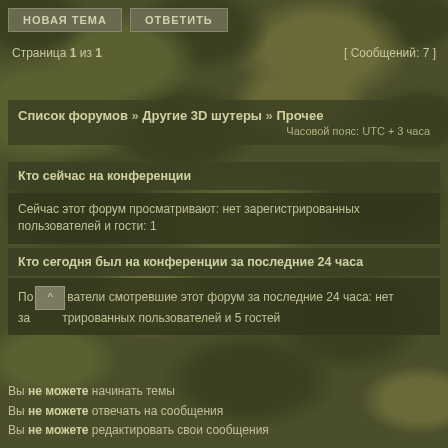НОВАЯ ТЕМА   ОТВЕТИТЬ
Страница 1 из 1    [ Сообщений: 7 ]
Список форумов » Другие 3D шутеры » Прочее
Часовой пояс: UTC + 3 часа
Кто сейчас на конференции
Сейчас этот форум просматривают: нет зарегистрированных пользователей и гости: 1
Кто сегодня был на конференции за последние 24 часа
Пользователи смотревшие этот форум за последние 24 часа: нет зарегистрированных пользователей и 5 гостей
Вы не можете начинать темы
Вы не можете отвечать на сообщения
Вы не можете редактировать свои сообщения